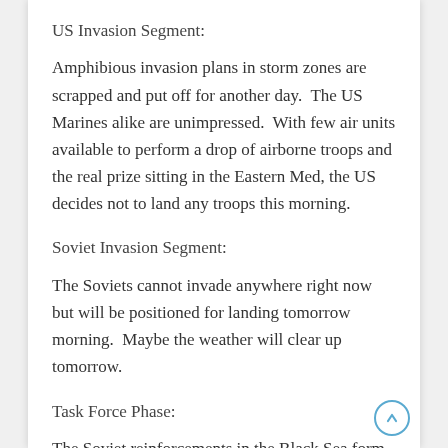US Invasion Segment:
Amphibious invasion plans in storm zones are scrapped and put off for another day.  The US Marines alike are unimpressed.  With few air units available to perform a drop of airborne troops and the real prize sitting in the Eastern Med, the US decides not to land any troops this morning.
Soviet Invasion Segment:
The Soviets cannot invade anywhere right now but will be positioned for landing tomorrow morning.  Maybe the weather will clear up tomorrow.
Task Force Phase:
The Soviet reinforcements in the Black Sea form up to make a formidable task force (TF7) while the remnants of the US fleet near Sicily pull...